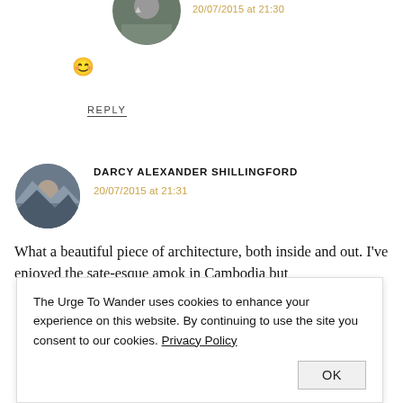[Figure (photo): Partially visible circular avatar photo at top of comment]
20/07/2015 at 21:30
😊
REPLY
[Figure (photo): Circular avatar photo of Darcy Alexander Shillingford, man with mountains in background]
DARCY ALEXANDER SHILLINGFORD
20/07/2015 at 21:31
What a beautiful piece of architecture, both inside and out. I've enjoyed the sate-esque amok in Cambodia but
The Urge To Wander uses cookies to enhance your experience on this website. By continuing to use the site you consent to our cookies. Privacy Policy
OK
REPLY